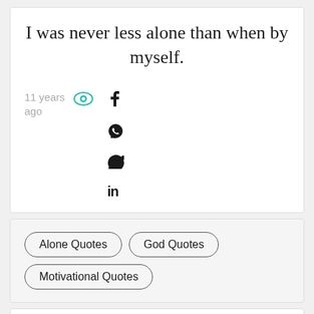I was never less alone than when by myself.
11 years ago
Alone Quotes
God Quotes
Motivational Quotes
The lonely become either thoughtful or empty.